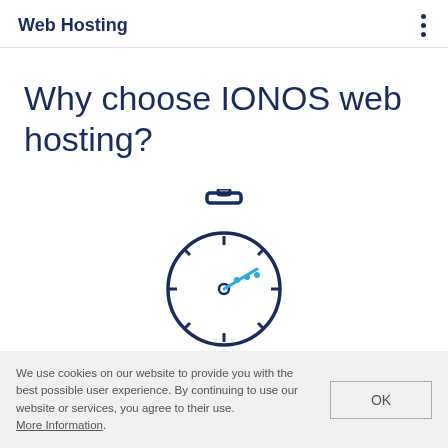Web Hosting
Why choose IONOS web hosting?
[Figure (illustration): Stopwatch/timer icon with a cyan/teal hand pointing toward the 3 o'clock position and three cyan dots indicating motion, drawn in dark navy blue outline style.]
We use cookies on our website to provide you with the best possible user experience. By continuing to use our website or services, you agree to their use. More Information.